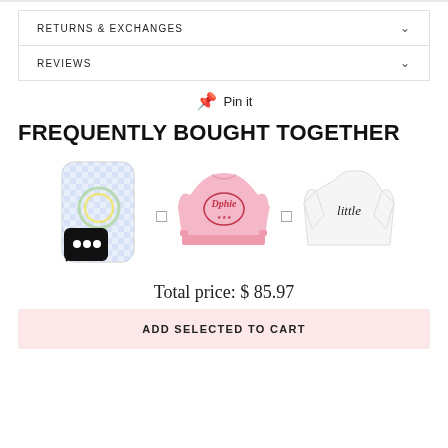RETURNS & EXCHANGES
REVIEWS
Pin it
FREQUENTLY BOUGHT TOGETHER
[Figure (photo): Three product images side by side: a checkered phone case with SMS icon, a pink Dphie sweatshirt, and a white t-shirt with 'little' text]
Total price: $ 85.97
ADD SELECTED TO CART